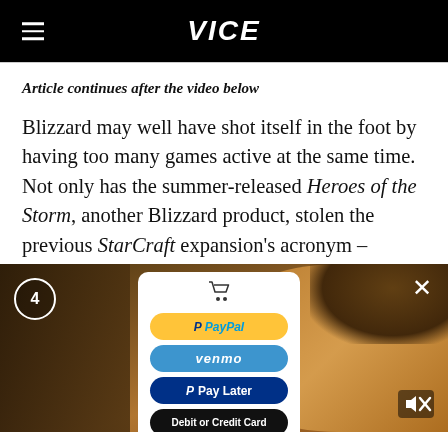VICE
Article continues after the video below
Blizzard may well have shot itself in the foot by having too many games active at the same time. Not only has the summer-released Heroes of the Storm, another Blizzard product, stolen the previous StarCraft expansion's acronym –
[Figure (screenshot): Video overlay with PayPal payment options panel showing PayPal, Venmo, Pay Later, and Debit or Credit Card buttons, with a woman in a yellow sweater in the background video, counter showing 4, close button X, and mute button]